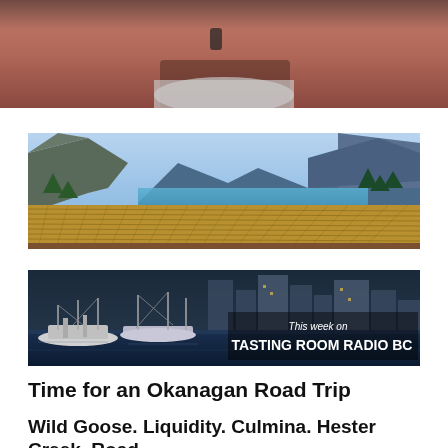[Figure (photo): Close-up photo of a person, cropped to show skin/clothing detail at the top of the page]
[Figure (photo): Wide panoramic photo of Okanagan vineyard with yellow grape rows in foreground, lake and mountains in background]
[Figure (photo): Tasting Room Radio BC promo banner showing marina/harbour with text overlay reading 'This week on TASTING ROOM RADIO BC']
Time for an Okanagan Road Trip
Wild Goose. Liquidity. Culmina. Hester Creek. Road